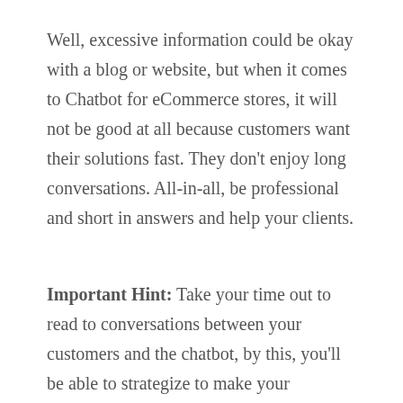Well, excessive information could be okay with a blog or website, but when it comes to Chatbot for eCommerce stores, it will not be good at all because customers want their solutions fast. They don't enjoy long conversations. All-in-all, be professional and short in answers and help your clients.
Important Hint: Take your time out to read to conversations between your customers and the chatbot, by this, you'll be able to strategize to make your Chatbots more customer-friendly.